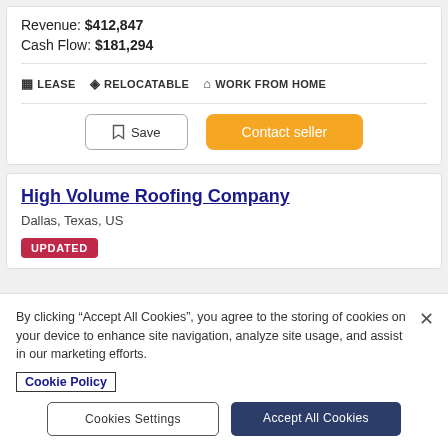Revenue: $412,847
Cash Flow: $181,294
LEASE  RELOCATABLE  WORK FROM HOME
Save
Contact seller
High Volume Roofing Company
Dallas, Texas, US
UPDATED
By clicking "Accept All Cookies", you agree to the storing of cookies on your device to enhance site navigation, analyze site usage, and assist in our marketing efforts.
Cookie Policy
Cookies Settings
Accept All Cookies